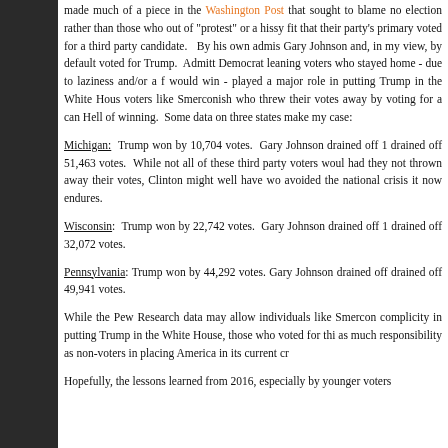made much of a piece in the Washington Post that sought to blame no election rather than those who out of "protest" or a hissy fit that their party's primary voted for a third party candidate. By his own admis Gary Johnson and, in my view, by default voted for Trump. Admitt Democrat leaning voters who stayed home - due to laziness and/or a f would win - played a major role in putting Trump in the White Hous voters like Smerconish who threw their votes away by voting for a can Hell of winning. Some data on three states make my case:
Michigan: Trump won by 10,704 votes. Gary Johnson drained off 1 drained off 51,463 votes. While not all of these third party voters woul had they not thrown away their votes, Clinton might well have wo avoided the national crisis it now endures.
Wisconsin: Trump won by 22,742 votes. Gary Johnson drained off 1 drained off 32,072 votes.
Pennsylvania: Trump won by 44,292 votes. Gary Johnson drained off drained off 49,941 votes.
While the Pew Research data may allow individuals like Smercon complicity in putting Trump in the White House, those who voted for thi as much responsibility as non-voters in placing America in its current cr
Hopefully, the lessons learned from 2016, especially by younger voters